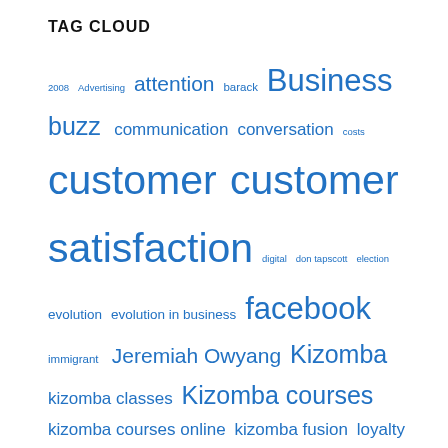TAG CLOUD
2008 Advertising attention barack Business buzz communication conversation costs customer customer satisfaction digital don tapscott election evolution evolution in business facebook immigrant Jeremiah Owyang Kizomba kizomba classes Kizomba courses kizomba courses online kizomba fusion loyalty Malcolm Gladwell Mark Granovetter mccain media movements My book native obama passion remarkable retweet twitter viral viral loop viral marketing viral triggers wassup whopper sacrifice Word of Mouth youtube